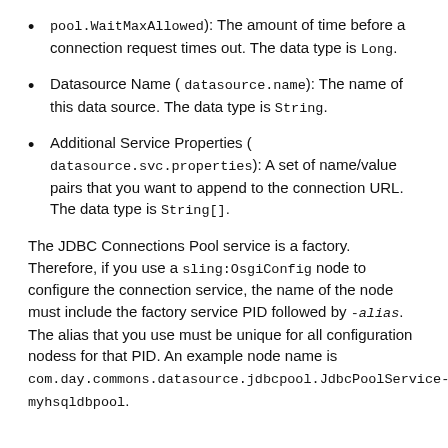pool.WaitMaxAllowed (pool.minMaxAllowed): The amount of time before a connection request times out. The data type is Long.
Datasource Name ( datasource.name): The name of this data source. The data type is String.
Additional Service Properties ( datasource.svc.properties): A set of name/value pairs that you want to append to the connection URL. The data type is String[].
The JDBC Connections Pool service is a factory. Therefore, if you use a sling:OsgiConfig node to configure the connection service, the name of the node must include the factory service PID followed by -alias. The alias that you use must be unique for all configuration nodess for that PID. An example node name is com.day.commons.datasource.jdbcpool.JdbcPoolService-myhsqldbpool.